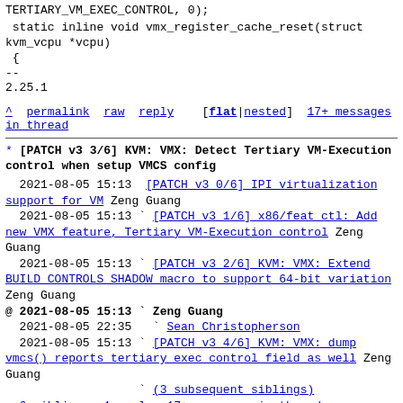TERTIARY_VM_EXEC_CONTROL, 0);
static inline void vmx_register_cache_reset(struct kvm_vcpu *vcpu)
 {
--
2.25.1
^ permalink  raw  reply    [flat|nested]  17+ messages in thread
* [PATCH v3 3/6] KVM: VMX: Detect Tertiary VM-Execution control when setup VMCS config
2021-08-05 15:13  [PATCH v3 0/6] IPI virtualization support for VM  Zeng Guang
  2021-08-05 15:13 ` [PATCH v3 1/6] x86/feat ctl: Add new VMX feature, Tertiary VM-Execution control  Zeng Guang
  2021-08-05 15:13 ` [PATCH v3 2/6] KVM: VMX: Extend BUILD CONTROLS SHADOW macro to support 64-bit variation  Zeng Guang
@ 2021-08-05 15:13 ` Zeng Guang
  2021-08-05 22:35   ` Sean Christopherson
  2021-08-05 15:13 ` [PATCH v3 4/6] KVM: VMX: dump vmcs() reports tertiary exec control field as well  Zeng Guang
                   ` (3 subsequent siblings)
  6 siblings, 1 reply; 17+ messages in thread
From: Zeng Guang @ 2021-08-05 15:13 UTC (permalink /